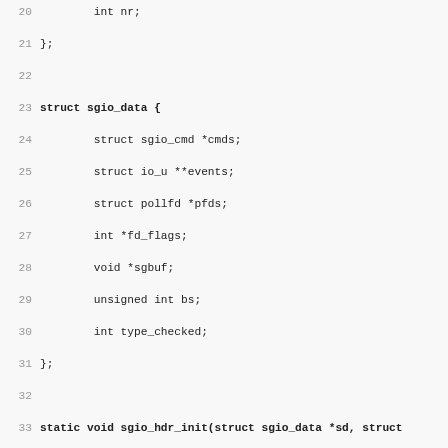Source code listing showing struct sgio_data definition and static void sgio_hdr_init function implementation in C, lines 20-51